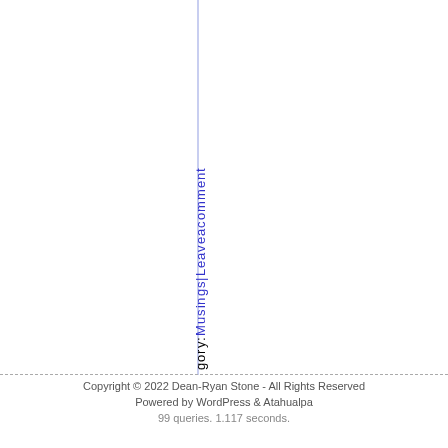gory: Musings|Leaveacomment
Copyright © 2022 Dean-Ryan Stone - All Rights Reserved
Powered by WordPress & Atahualpa
99 queries. 1.117 seconds.